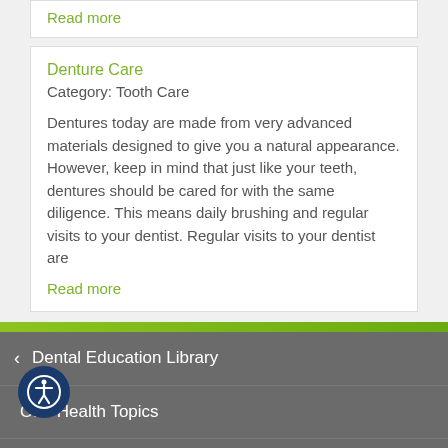Read more
Denture Care
Category: Tooth Care
Dentures today are made from very advanced materials designed to give you a natural appearance. However, keep in mind that just like your teeth, dentures should be cared for with the same diligence. This means daily brushing and regular visits to your dentist. Regular visits to your dentist are
Read more
< Dental Education Library
Oral Health Topics
Tooth Care
Dental Problems
ment >